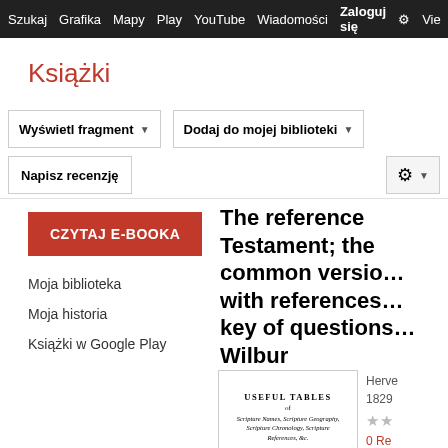Szukaj  Grafika  Mapy  Play  YouTube  Wiadomości  Zaloguj się  Vie
Książki
Wyświetl fragment
Dodaj do mojej biblioteki
Napisz recenzję
CZYTAJ E-BOOKA
Moja biblioteka
Moja historia
Książki w Google Play
The reference Testament; the common version with references key of questions Wilbur
[Figure (photo): Book cover page showing 'USEFUL TABLES' with subtitle text about Scripture Names, Scripture Geography, Scripture Chronology, Scripture References, etc., prepared to accompany the Reference Testament]
Herve
1829
0 Re